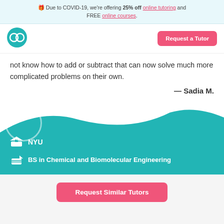Due to COVID-19, we're offering 25% off online tutoring and FREE online courses.
[Figure (logo): Wyzant logo - teal circular icon with two overlapping circles]
not know how to add or subtract that can now solve much more complicated problems on their own.
— Sadia M.
[Figure (illustration): Teal wave background card with circle decoration, showing NYU with graduation cap icon and BS in Chemical and Biomolecular Engineering with diploma icon]
Request Similar Tutors